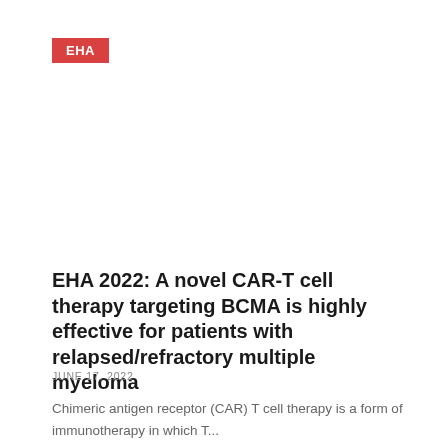[Figure (logo): EHA red badge/logo label]
EHA 2022: A novel CAR-T cell therapy targeting BCMA is highly effective for patients with relapsed/refractory multiple myeloma
JUNE 17, 2022
Chimeric antigen receptor (CAR) T cell therapy is a form of immunotherapy in which T...